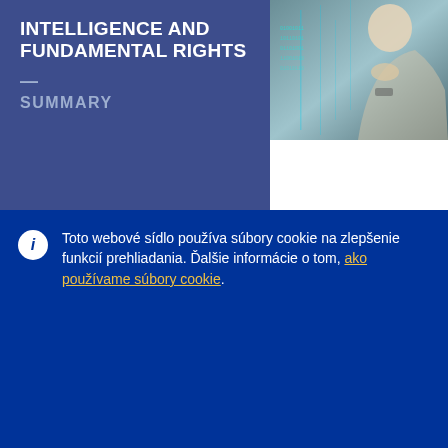INTELLIGENCE AND FUNDAMENTAL RIGHTS
SUMMARY
[Figure (photo): Person looking at a digital screen overlaid with data/code, with hand on chin in contemplative pose]
Toto webové sídlo používa súbory cookie na zlepšenie funkcií prehliadania. Ďalšie informácie o tom, ako používame súbory cookie.
Prijať všetky súbory cookie
Prijať len základné súbory cookie